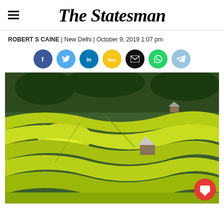The Statesman
ROBERT S CAINE | New Delhi | October 9, 2019 1:07 pm
[Figure (other): Social sharing buttons: Facebook, Twitter, LinkedIn, Koo, Email, WhatsApp, Telegram]
[Figure (photo): Aerial view of green terraced rice fields with a small wooden house, showing layered contour farming patterns with vibrant yellow-green crops]